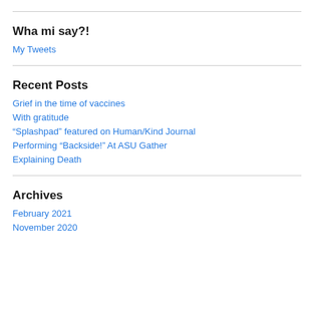Wha mi say?!
My Tweets
Recent Posts
Grief in the time of vaccines
With gratitude
“Splashpad” featured on Human/Kind Journal
Performing “Backside!” At ASU Gather
Explaining Death
Archives
February 2021
November 2020